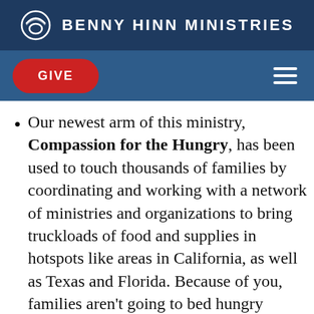BENNY HINN MINISTRIES
Our newest arm of this ministry, Compassion for the Hungry, has been used to touch thousands of families by coordinating and working with a network of ministries and organizations to bring truckloads of food and supplies in hotspots like areas in California, as well as Texas and Florida. Because of you, families aren't going to bed hungry tonight. You are helping devastated households survive. You have brought joy to many children's faces on Christmas morning. You have helped to provide holiday meals. You have let people caught in tough spots know they are not alone and forgotten by God